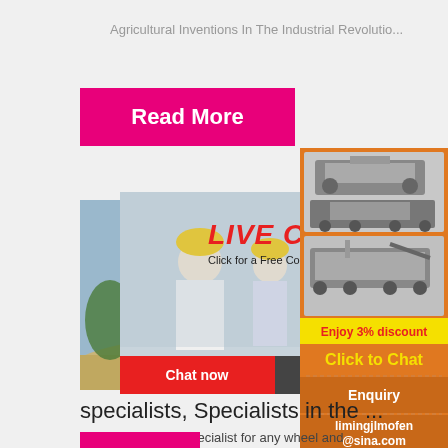Agricultural Inventions In The Industrial Revolutio...
[Figure (other): Pink 'Read More' button]
[Figure (photo): Workers in hard hats at a construction or industrial site]
[Figure (other): Live chat overlay with workers in yellow hard hats. Shows 'LIVE CHAT', 'Click for a Free Consultation', 'Chat now' and 'Chat later' buttons, and a close (X) button.]
[Figure (other): Right sidebar ad on orange background showing industrial machinery images, 'Enjoy 3% discount', 'Click to Chat', 'Enquiry', and 'limingjlmofen@sina.com']
specialists, Specialists in the ...
AMS is your specialist for any wheel and
[Figure (other): Bottom pink button (partial)]